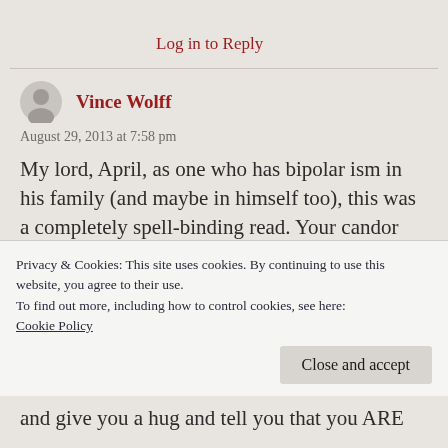Log in to Reply
Vince Wolff
August 29, 2013 at 7:58 pm
My lord, April, as one who has bipolar ism in his family (and maybe in himself too), this was a completely spell-binding read. Your candor and complete honesty was so refreshing, and I admittedly learned some things. My mother is
Privacy & Cookies: This site uses cookies. By continuing to use this website, you agree to their use.
To find out more, including how to control cookies, see here:
Cookie Policy
Close and accept
and give you a hug and tell you that you ARE